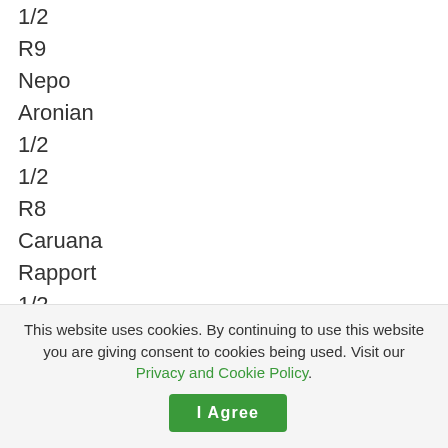1/2
R9
Nepo
Aronian
1/2
1/2
R8
Caruana
Rapport
1/2
1/2
R8
MVL
Deac
This website uses cookies. By continuing to use this website you are giving consent to cookies being used. Visit our Privacy and Cookie Policy.